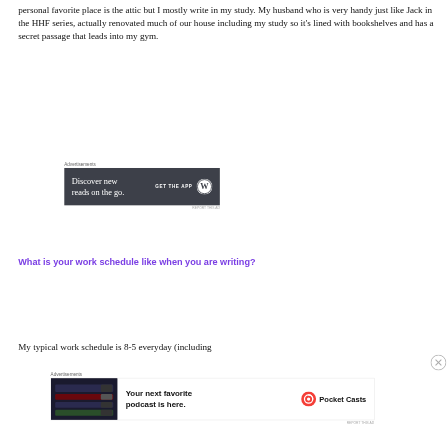personal favorite place is the attic but I mostly write in my study. My husband who is very handy just like Jack in the HHF series, actually renovated much of our house including my study so it's lined with bookshelves and has a secret passage that leads into my gym.
[Figure (screenshot): Advertisement banner: dark grey background with text 'Discover new reads on the go.' and 'GET THE APP' with WordPress logo]
What is your work schedule like when you are writing?
My typical work schedule is 8-5 everyday (including
[Figure (screenshot): Advertisement banner: 'Your next favorite podcast is here.' with Pocket Casts logo, showing a dark screenshot of a podcast app on the left]